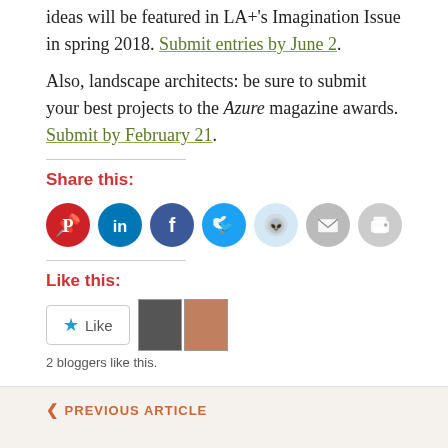ideas will be featured in LA+'s Imagination Issue in spring 2018. Submit entries by June 2.
Also, landscape architects: be sure to submit your best projects to the Azure magazine awards. Submit by February 21.
Share this:
[Figure (infographic): Social media share icons: Pinterest (red), LinkedIn (dark blue), Facebook (blue), Twitter (light blue), Reddit (light blue/grey), Email (grey), Print (grey)]
Like this:
[Figure (infographic): WordPress Like widget with star icon and Like button, plus two blogger avatar images]
2 bloggers like this.
Education, Landscape Architecture, Opportunities
PREVIOUS ARTICLE